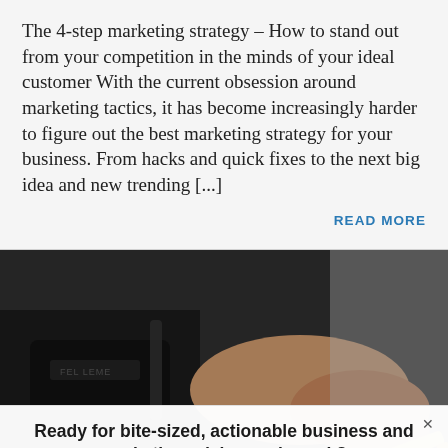The 4-step marketing strategy – How to stand out from your competition in the minds of your ideal customer With the current obsession around marketing tactics, it has become increasingly harder to figure out the best marketing strategy for your business. From hacks and quick fixes to the next big idea and new trending [...]
READ MORE
[Figure (photo): A person holding a yellow highlighter or pen, wearing a dark jacket, appearing to write or mark something. A bag is visible in the background.]
Ready for bite-sized, actionable business and marketing advice each week? Click to learn more